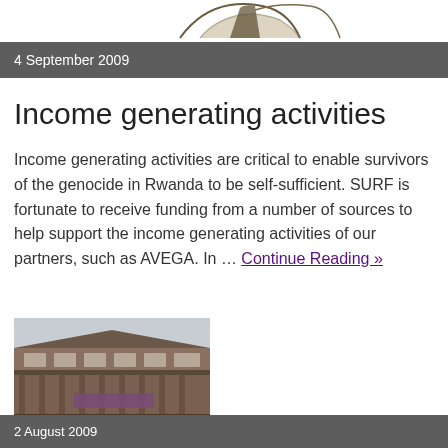[Figure (photo): Partial top image strip showing what appears to be a bird or decorative sculpture element against white background]
4 September 2009
Income generating activities
Income generating activities are critical to enable survivors of the genocide in Rwanda to be self-sufficient. SURF is fortunate to receive funding from a number of sources to help support the income generating activities of our partners, such as AVEGA. In … Continue Reading »
[Figure (photo): Photograph of a multi-storey building with covered walkways and balconies, appears to be in Rwanda]
2 August 2009